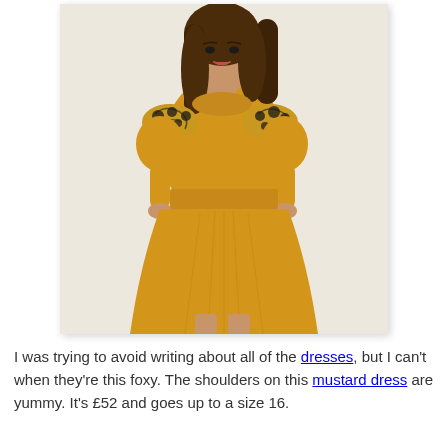[Figure (photo): A woman wearing a mustard yellow short-sleeve dress with black floral embroidery on the shoulders and collar area. The dress is fitted at the waist with a pleated skirt. The background is a light beige/cream color.]
I was trying to avoid writing about all of the dresses, but I can't when they're this foxy. The shoulders on this mustard dress are yummy. It's £52 and goes up to a size 16.